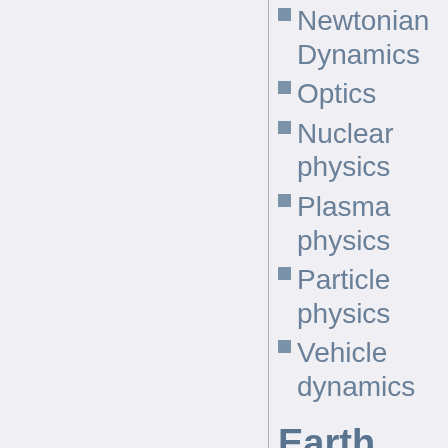Newtonian Dynamics
Optics
Nuclear physics
Plasma physics
Particle physics
Vehicle dynamics
Earth sciences
Environmental